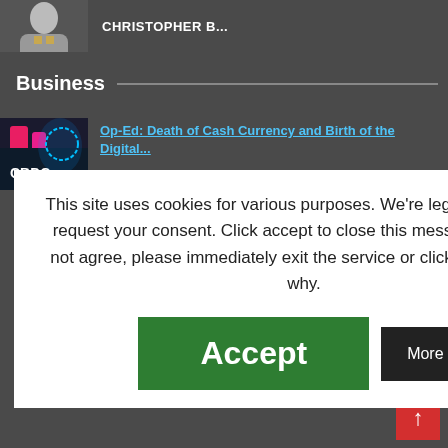CHRISTOPHER B...
Business
Op-Ed: Death of Cash Currency and Birth of the Digital...
of Life After Death
rds $25,000 To
age Rates, Demand
This site uses cookies for various purposes. We're legally required to request your consent. Click accept to close this message. If you do not agree, please immediately exit the service or click more to learn why.
Accept
More